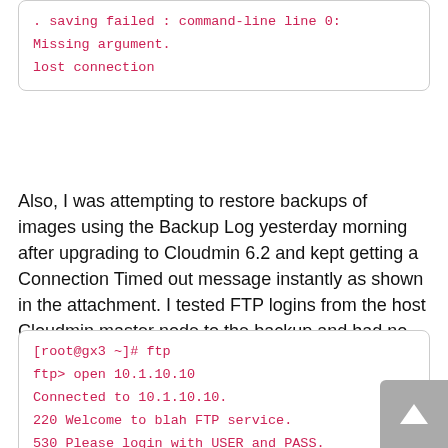[Figure (screenshot): Code/terminal output box (partial, top of page) showing error messages in red monospace text: '. saving failed : command-line line 0: Missing argument.' and 'lost connection']
Also, I was attempting to restore backups of images using the Backup Log yesterday morning after upgrading to Cloudmin 6.2 and kept getting a Connection Timed out message instantly as shown in the attachment. I tested FTP logins from the host Cloudmin master node to the backup and had no issues connecting. I did however get the following message which I can't say for sure is new or not :
[Figure (screenshot): Terminal/code box showing FTP session: '[root@gx3 ~]# ftp', 'ftp> open 10.1.10.10', 'Connected to 10.1.10.10.', '220 Welcome to blah FTP service.', '530 Please login with USER and PASS.', '530 Please login with USER and PASS.', 'KERBEROS_V4 rejected as an...' (partial)]